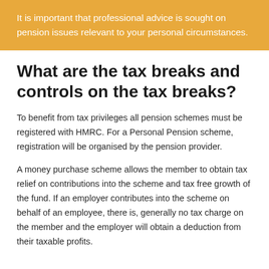It is important that professional advice is sought on pension issues relevant to your personal circumstances.
What are the tax breaks and controls on the tax breaks?
To benefit from tax privileges all pension schemes must be registered with HMRC. For a Personal Pension scheme, registration will be organised by the pension provider.
A money purchase scheme allows the member to obtain tax relief on contributions into the scheme and tax free growth of the fund. If an employer contributes into the scheme on behalf of an employee, there is, generally no tax charge on the member and the employer will obtain a deduction from their taxable profits.